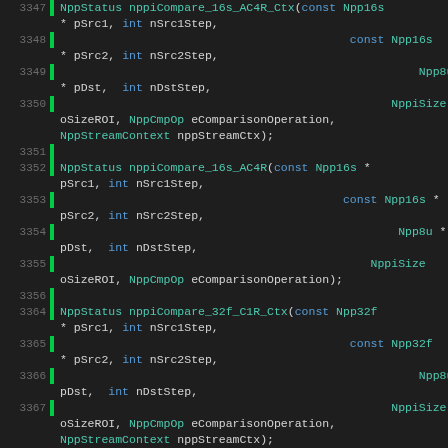Code listing showing C API function signatures for NppStatus nppiCompare variants: nppiCompare_16s_AC4R_Ctx, nppiCompare_16s_AC4R, nppiCompare_32f_C1R_Ctx, nppiCompare_32f_C1R with line numbers 3347-3371